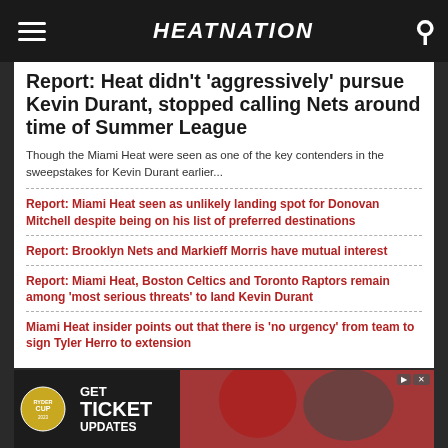HEATNATION
Report: Heat didn't 'aggressively' pursue Kevin Durant, stopped calling Nets around time of Summer League
Though the Miami Heat were seen as one of the key contenders in the sweepstakes for Kevin Durant earlier...
Report: Miami Heat seen as unlikely landing spot for Donovan Mitchell despite being on his list of preferred destinations
Report: Brooklyn Nets and Markieff Morris have mutual interest
Report: Miami Heat, Boston Celtics and Toronto Raptors remain among 'most serious threats' to land Kevin Durant
Miami Heat insider points out that there is 'no urgency' from team to sign Tyler Herro to extension
[Figure (infographic): Advertisement banner for Ryder Cup ticket updates with golfer photo]